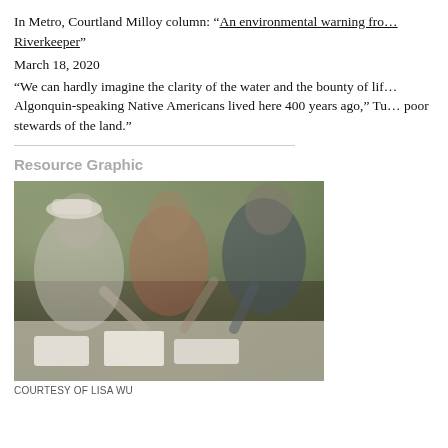In Metro, Courtland Milloy column: “An environmental warning fro… Riverkeeper”
March 18, 2020
“We can hardly imagine the clarity of the water and the bounty of lif… Algonquin-speaking Native Americans lived here 400 years ago,” Tu… poor stewards of the land.”
Resource Graphic
[Figure (photo): Students leaning over a table examining specimens outdoors, engaged in environmental fieldwork.]
COURTESY OF LISA WU